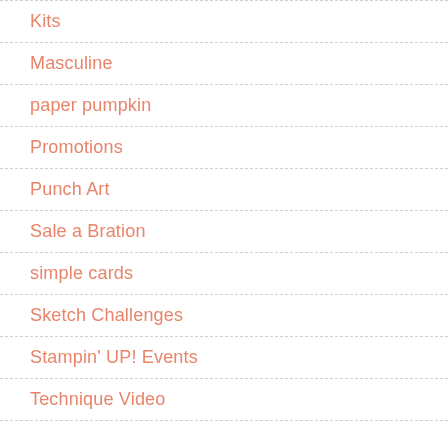Kits
Masculine
paper pumpkin
Promotions
Punch Art
Sale a Bration
simple cards
Sketch Challenges
Stampin' UP! Events
Technique Video